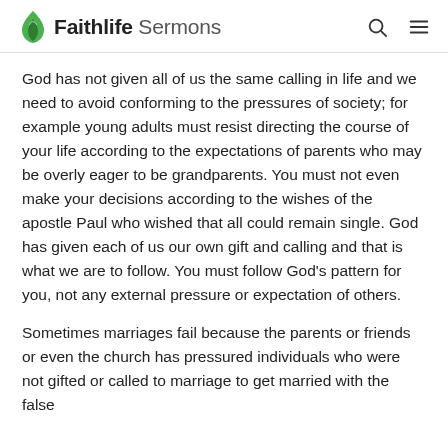Faithlife Sermons
God has not given all of us the same calling in life and we need to avoid conforming to the pressures of society; for example young adults must resist directing the course of your life according to the expectations of parents who may be overly eager to be grandparents. You must not even make your decisions according to the wishes of the apostle Paul who wished that all could remain single. God has given each of us our own gift and calling and that is what we are to follow. You must follow God’s pattern for you, not any external pressure or expectation of others.
Sometimes marriages fail because the parents or friends or even the church has pressured individuals who were not gifted or called to marriage to get married with the false